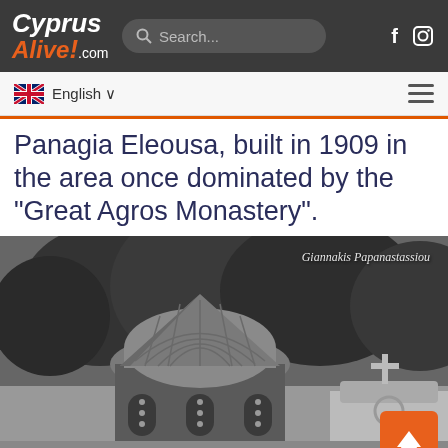Cyprus Alive! .com
English
Panagia Eleousa, built in 1909 in the area once dominated by the "Great Agros Monastery".
[Figure (photo): Black and white photograph of the Panagia Eleousa church with a domed roof and arched windows, surrounded by trees on a hillside. A smaller chapel with a cross is visible to the right. Photo credit: Giannakis Papanastassiou.]